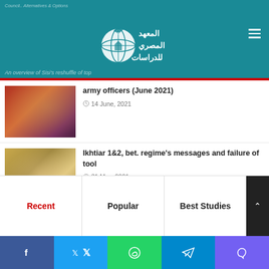[Figure (logo): Egyptian Institute for Studies logo with globe and Arabic text]
An overview of Sisi's reshuffle of top army officers (June 2021) — 14 June, 2021
Ikhtiar 1&2, bet. regime's messages and failure of tool — 31 May, 2021
GERD Crisis Military Capabilities and Likely Confrontation — 12 April, 2021
Recent
Popular
Best Studies